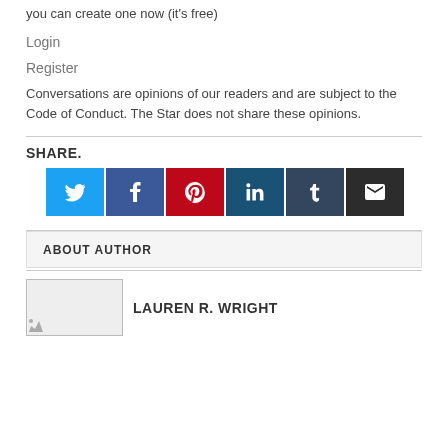you can create one now (it's free)
Login
Register
Conversations are opinions of our readers and are subject to the Code of Conduct. The Star does not share these opinions.
SHARE.
[Figure (infographic): Social share buttons: Twitter, Facebook, Pinterest, LinkedIn, Tumblr, Email]
ABOUT AUTHOR
LAUREN R. WRIGHT